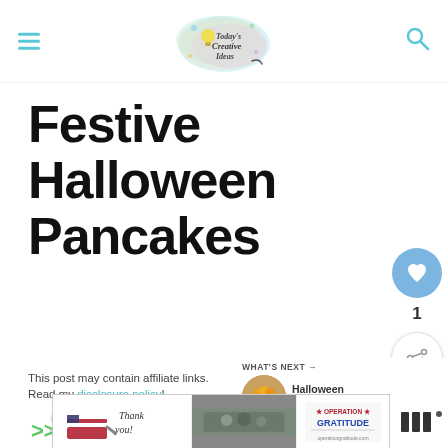Today's Creative Ideas — navigation header with hamburger menu and search icon
Festive Halloween Pancakes
This post may contain affiliate links. Read my disclosure policy!
[Figure (screenshot): What's Next thumbnail showing Halloween Cauldron Ca... with circular thumbnail image]
[Figure (infographic): SHOP MY FAVES banner with green arrows and decorative text]
[Figure (screenshot): Operation Gratitude advertisement banner with military imagery and 'Thank you' handwritten text]